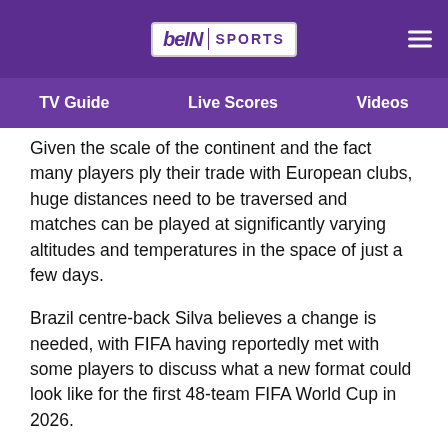[Figure (logo): beIN SPORTS logo with hamburger menu on purple navigation bar]
TV Guide   Live Scores   Videos
Given the scale of the continent and the fact many players ply their trade with European clubs, huge distances need to be traversed and matches can be played at significantly varying altitudes and temperatures in the space of just a few days.
Brazil centre-back Silva believes a change is needed, with FIFA having reportedly met with some players to discuss what a new format could look like for the first 48-team FIFA World Cup in 2026.
"It's not the 18 games, but the travelling we do. It's a lot of mileage compared to the Europeans, who play close together," Silva was quoted as saying by Globo Esporte